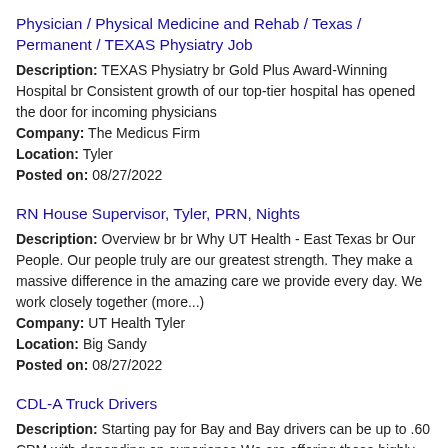Physician / Physical Medicine and Rehab / Texas / Permanent / TEXAS Physiatry Job
Description: TEXAS Physiatry br Gold Plus Award-Winning Hospital br Consistent growth of our top-tier hospital has opened the door for incoming physicians Company: The Medicus Firm Location: Tyler Posted on: 08/27/2022
RN House Supervisor, Tyler, PRN, Nights
Description: Overview br br Why UT Health - East Texas br Our People. Our people truly are our greatest strength. They make a massive difference in the amazing care we provide every day. We work closely together (more...) Company: UT Health Tyler Location: Big Sandy Posted on: 08/27/2022
CDL-A Truck Drivers
Description: Starting pay for Bay and Bay drivers can be up to .60 CPM with depending on experience We are offering these highly compensated professional truck driving jobs to motivated, successful and safety-oriented (more...)